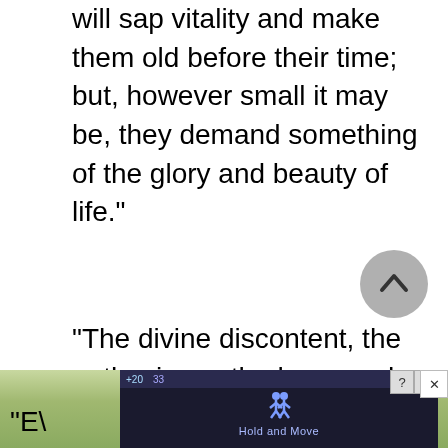will sap vitality and make them old before their time; but, however small it may be, they demand something of the glory and beauty of life."
"The divine discontent, the enthusiasm, the hope and the vision of the Russian Jewish girl and woman immigrant have been and are a vastly valuable contribution to America in general and the American labor movement in particular."
"E\ ... ho
[Figure (screenshot): Mobile app overlay advertisement showing 'Hold and Move' app with person icon, with close (X) and question (?) buttons, overlaid on a nature photo background. A grey scroll-to-top circular button is also visible.]